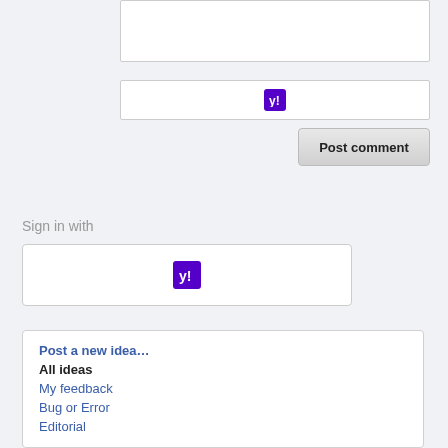[Figure (screenshot): White textarea input box (top portion visible)]
[Figure (screenshot): White input row with Yahoo purple logo icon centered]
Post comment
Sign in with
[Figure (screenshot): Large white signin box with Yahoo purple logo icon centered]
Post a new idea...
All ideas
My feedback
Bug or Error
Editorial